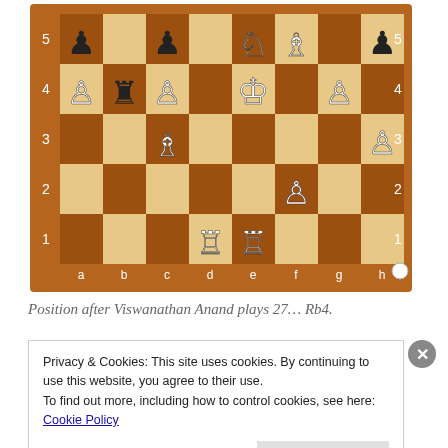[Figure (other): Chess board diagram showing a chess position. Rank labels 5,4,3,2,1 on left and right. File labels a,b,c,d,e,f,g,h on bottom. White circle near h1. Position after Viswanathan Anand plays 27... Rb4.]
Position after Viswanathan Anand plays 27… Rb4.
Privacy & Cookies: This site uses cookies. By continuing to use this website, you agree to their use.
To find out more, including how to control cookies, see here: Cookie Policy
Close and accept